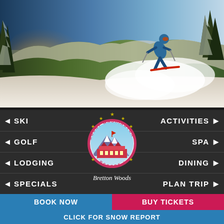[Figure (photo): Skier descending a snow-covered mountain slope at Bretton Woods with bright sunlight and snowy trees in the background]
◄ SKI
◄ GOLF
◄ LODGING
◄ SPECIALS
[Figure (logo): Mount Washington Resort circular logo with stars and mountain illustration, with Bretton Woods text below]
ACTIVITIES ►
SPA ►
DINING ►
PLAN TRIP ►
BOOK NOW
BUY TICKETS
CLICK FOR SNOW REPORT